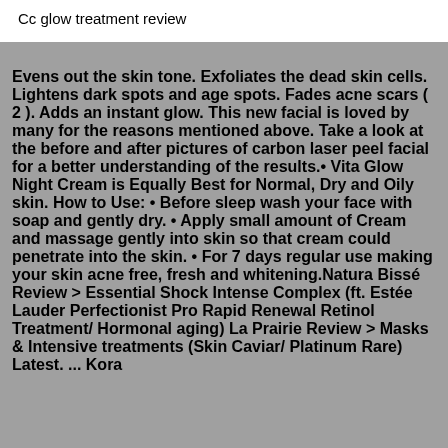Cc glow treatment review
Evens out the skin tone. Exfoliates the dead skin cells. Lightens dark spots and age spots. Fades acne scars ( 2 ). Adds an instant glow. This new facial is loved by many for the reasons mentioned above. Take a look at the before and after pictures of carbon laser peel facial for a better understanding of the results.• Vita Glow Night Cream is Equally Best for Normal, Dry and Oily skin. How to Use: • Before sleep wash your face with soap and gently dry. • Apply small amount of Cream and massage gently into skin so that cream could penetrate into the skin. • For 7 days regular use making your skin acne free, fresh and whitening.Natura Bissé Review > Essential Shock Intense Complex (ft. Estée Lauder Perfectionist Pro Rapid Renewal Retinol Treatment/ Hormonal aging) La Prairie Review > Masks & Intensive treatments (Skin Caviar/ Platinum Rare) Latest. ... Kora